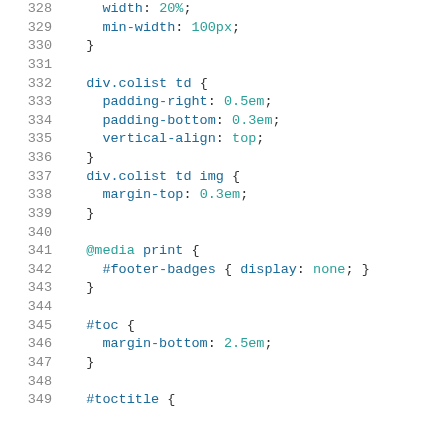[Figure (screenshot): Code editor screenshot showing CSS source lines 328–349 with syntax highlighting. Line numbers in gray on the left, CSS selectors in blue, properties in blue, values in teal/cyan.]